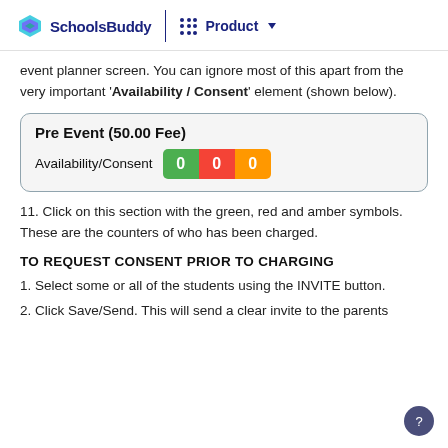SchoolsBuddy | Product
event planner screen. You can ignore most of this apart from the very important 'Availability / Consent' element (shown below).
[Figure (screenshot): UI card showing 'Pre Event (50.00 Fee)' with Availability/Consent counters showing three colored badges (green, red, amber) each displaying 0]
11. Click on this section with the green, red and amber symbols. These are the counters of who has been charged.
TO REQUEST CONSENT PRIOR TO CHARGING
1. Select some or all of the students using the INVITE button.
2. Click Save/Send. This will send a clear invite to the parents